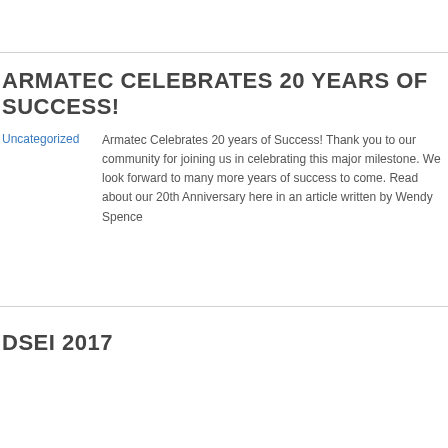ARMATEC CELEBRATES 20 YEARS OF SUCCESS!
Uncategorized
Armatec Celebrates 20 years of Success! Thank you to our community for joining us in celebrating this major milestone. We look forward to many more years of success to come. Read about our 20th Anniversary here in an article written by Wendy Spence
DSEI 2017